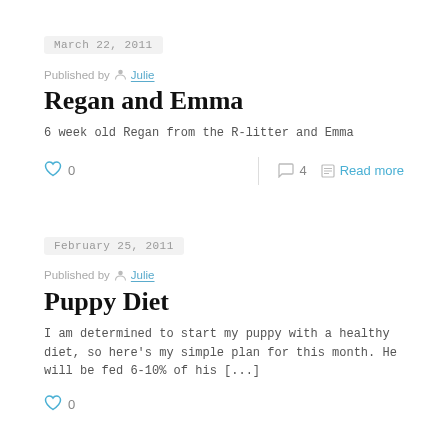March 22, 2011
Published by Julie
Regan and Emma
6 week old Regan from the R-litter and Emma
0  4  Read more
February 25, 2011
Published by Julie
Puppy Diet
I am determined to start my puppy with a healthy diet, so here's my simple plan for this month. He will be fed 6-10% of his [...]